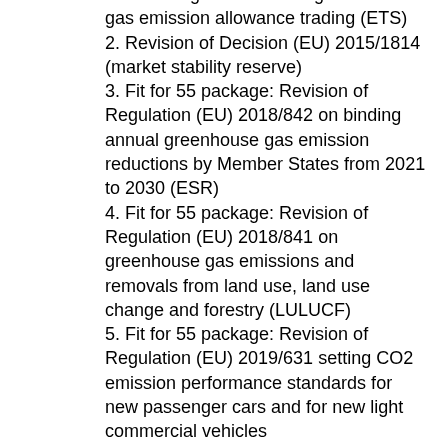establishing a scheme for greenhouse gas emission allowance trading (ETS)
2. Revision of Decision (EU) 2015/1814 (market stability reserve)
3. Fit for 55 package: Revision of Regulation (EU) 2018/842 on binding annual greenhouse gas emission reductions by Member States from 2021 to 2030 (ESR)
4. Fit for 55 package: Revision of Regulation (EU) 2018/841 on greenhouse gas emissions and removals from land use, land use change and forestry (LULUCF)
5. Fit for 55 package: Revision of Regulation (EU) 2019/631 setting CO2 emission performance standards for new passenger cars and for new light commercial vehicles
6. Fit for 55 package: Regulation establishing a Social Climate Fund
7. Proposal for a Regulation on minimising the risk of deforestation and forest degradation associated with products placed on the EU market
8. Regulation on transboundary transfers of waste